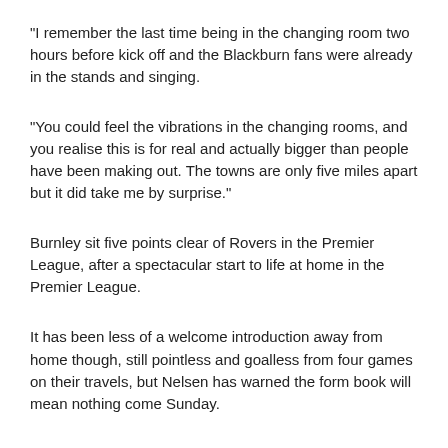“I remember the last time being in the changing room two hours before kick off and the Blackburn fans were already in the stands and singing.
“You could feel the vibrations in the changing rooms, and you realise this is for real and actually bigger than people have been making out. The towns are only five miles apart but it did take me by surprise.”
Burnley sit five points clear of Rovers in the Premier League, after a spectacular start to life at home in the Premier League.
It has been less of a welcome introduction away from home though, still pointless and goalless from four games on their travels, but Nelsen has warned the form book will mean nothing come Sunday.
He said: “This derby is definitely misunderstood. People south of these